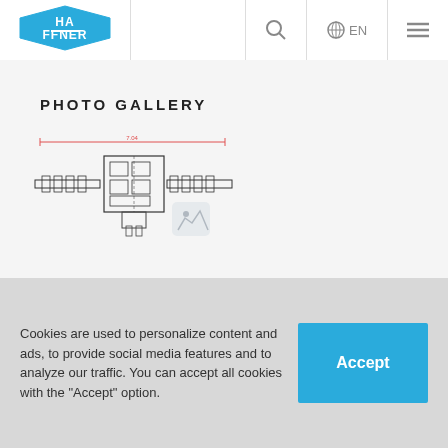[Figure (logo): Haffner logo — blue hexagon/shield shape with white HAFFNER text and stylized double-f]
[Figure (schematic): Engineering schematic/technical drawing of a mechanical assembly showing a horizontal cross-section with rollers and structural components, with a red dimension line at the top]
PHOTO GALLERY
Cookies are used to personalize content and ads, to provide social media features and to analyze our traffic. You can accept all cookies with the "Accept" option.